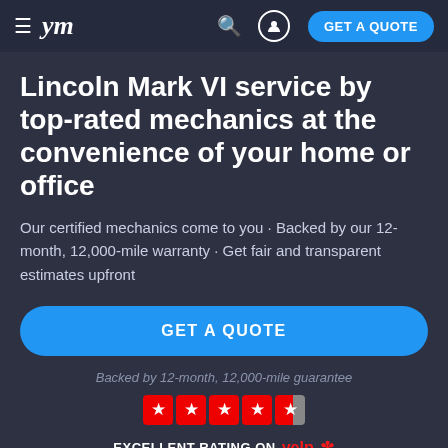≡ ym  🔍  👤  GET A QUOTE
Lincoln Mark VI service by top-rated mechanics at the convenience of your home or office
Our certified mechanics come to you · Backed by our 12-month, 12,000-mile warranty · Get fair and transparent estimates upfront
GET A QUOTE
Backed by 12-month, 12,000-mile guarantee
EXCELLENT RATING ON yelp